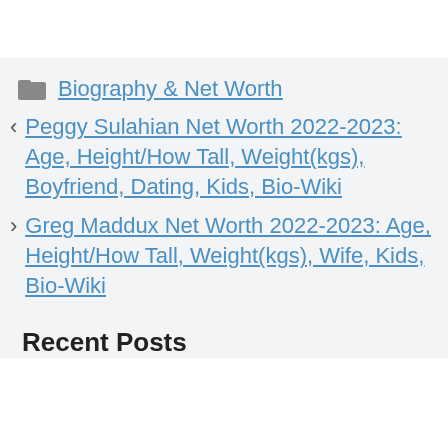Biography & Net Worth
Peggy Sulahian Net Worth 2022-2023: Age, Height/How Tall, Weight(kgs), Boyfriend, Dating, Kids, Bio-Wiki
Greg Maddux Net Worth 2022-2023: Age, Height/How Tall, Weight(kgs), Wife, Kids, Bio-Wiki
Recent Posts